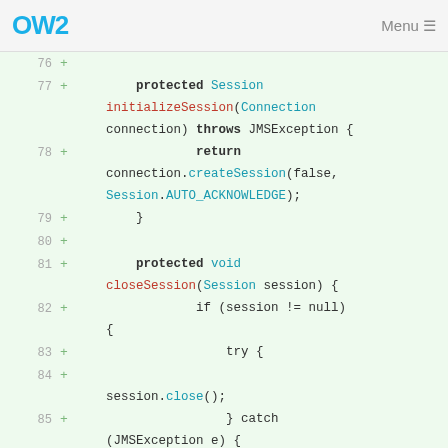OW2 Menu
[Figure (screenshot): Code diff view showing lines 76-86 of a Java file with added lines (+) on green background. Lines include protected Session initializeSession(Connection connection) throws JMSException { return connection.createSession(false, Session.AUTO_ACKNOWLEDGE); } and protected void closeSession(Session session) { if (session != null) { try { session.close(); } catch (JMSException e) { log.error("Closing JMS session]